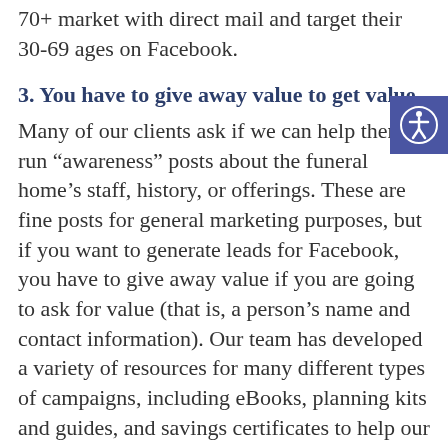70+ market with direct mail and target their 30-69 ages on Facebook.
3. You have to give away value to get value.
Many of our clients ask if we can help them run “awareness” posts about the funeral home’s staff, history, or offerings. These are fine posts for general marketing purposes, but if you want to generate leads for Facebook, you have to give away value if you are going to ask for value (that is, a person’s name and contact information). Our team has developed a variety of resources for many different types of campaigns, including eBooks, planning kits and guides, and savings certificates to help our customers give away value. And we are always coming up with new ideas!